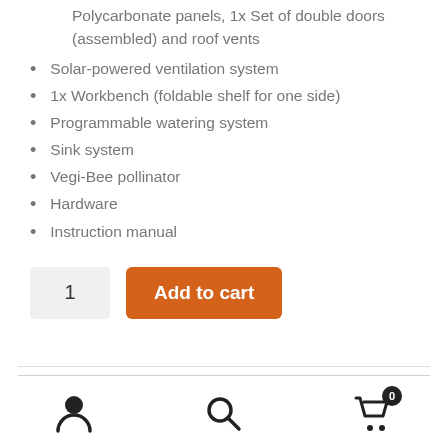Polycarbonate panels, 1x Set of double doors (assembled) and roof vents
Solar-powered ventilation system
1x Workbench (foldable shelf for one side)
Programmable watering system
Sink system
Vegi-Bee pollinator
Hardware
Instruction manual
[Figure (screenshot): E-commerce add to cart UI: quantity box showing '1' and orange 'Add to cart' button]
[Figure (screenshot): Website footer navigation bar with user icon, search icon, and cart icon with badge showing 0]